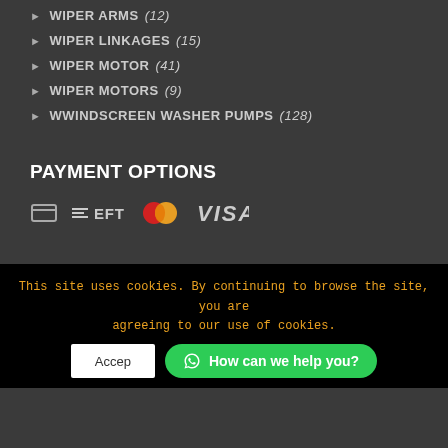WIPER ARMS (12)
WIPER LINKAGES (15)
WIPER MOTOR (41)
WIPER MOTORS (9)
wWINDSCREEN WASHER PUMPS (128)
PAYMENT OPTIONS
[Figure (logo): Payment method logos: EFT, Mastercard, Visa]
This site uses cookies. By continuing to browse the site, you are agreeing to our use of cookies.
Accept | How can we help you?